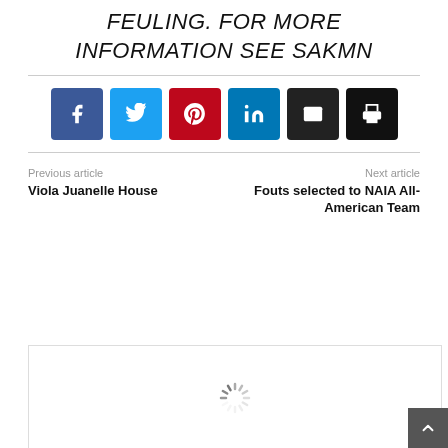FEULING. FOR MORE INFORMATION SEE SAKMN
[Figure (infographic): Social sharing buttons: Facebook (blue), Twitter (cyan), Pinterest (red), LinkedIn (teal), Email (dark gray), Print (black)]
Previous article
Viola Juanelle House
Next article
Fouts selected to NAIA All-American Team
[Figure (other): Loading spinner inside a bordered box]